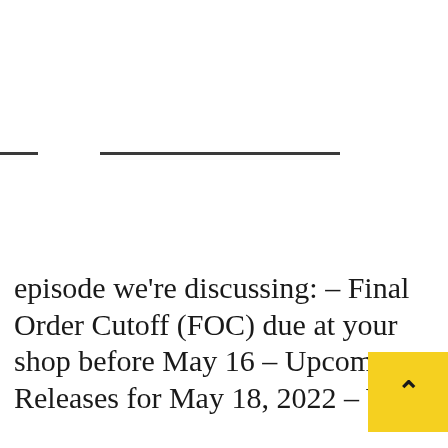[Figure (other): Two short horizontal dark rules/dividers near the top third of the page]
episode we're discussing: – Final Order Cutoff (FOC) due at your shop before May 16 – Upcoming Releases for May 18, 2022 – We